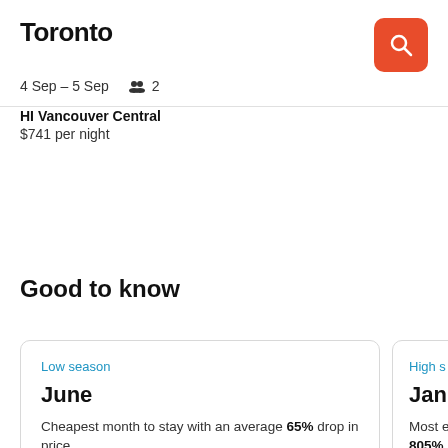Toronto
4 Sep – 5 Sep   👥 2
HI Vancouver Central
$741 per night
Good to know
Low season
June
Cheapest month to stay with an average 65% drop in price.
High s
Janu
Most e 805%